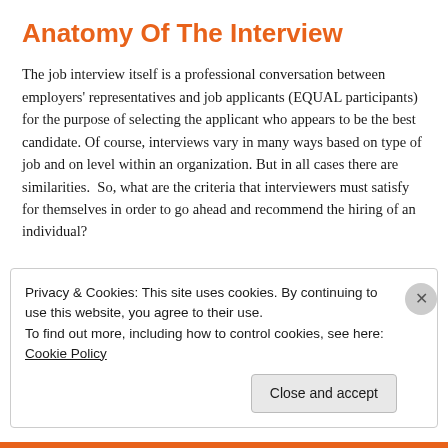Anatomy Of The Interview
The job interview itself is a professional conversation between employers' representatives and job applicants (EQUAL participants) for the purpose of selecting the applicant who appears to be the best candidate. Of course, interviews vary in many ways based on type of job and on level within an organization. But in all cases there are similarities.  So, what are the criteria that interviewers must satisfy for themselves in order to go ahead and recommend the hiring of an individual?
Privacy & Cookies: This site uses cookies. By continuing to use this website, you agree to their use.
To find out more, including how to control cookies, see here: Cookie Policy